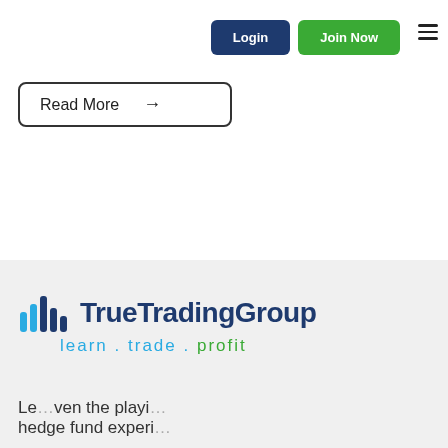[Figure (screenshot): Navigation bar with Login and Join Now buttons, and hamburger menu icon]
[Figure (other): Read More button with arrow icon]
[Figure (logo): True Trading Group logo with tagline: learn . trade . profit]
Le...ven the playi...hedge fund experi...
[Figure (other): Dark mode toggle button (moon icon)]
[Figure (other): Chat now bar in blue with chat icon]